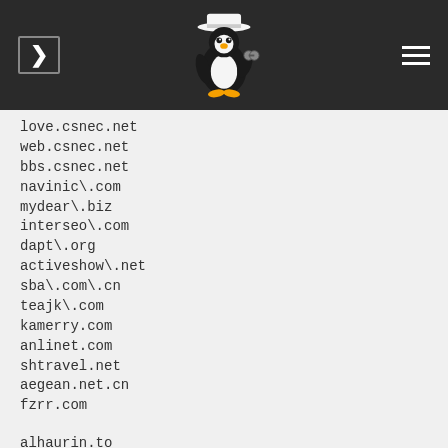love.csnec.net
web.csnec.net
bbs.csnec.net
navinic\.com
mydear\.biz
interseo\.com
dapt\.org
activeshow\.net
sba\.com\.cn
teajk\.com
kamerry.com
anlinet.com
shtravel.net
aegean.net.cn
fzrr.com
alhaurin.to
arrecife.to
ayamonte.to
barbate.to
barcelona.to